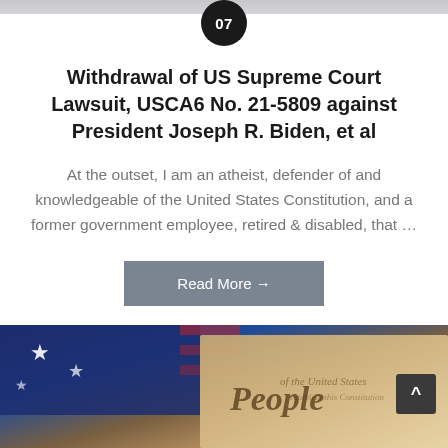[Figure (other): Dark circular badge with number 07 in white text on black background]
Withdrawal of US Supreme Court Lawsuit, USCA6 No. 21-5809 against President Joseph R. Biden, et al
At the outset, I am an atheist, defender of and knowledgeable of the United States Constitution, and a former government employee, retired & disabled, that …
Read More →
[Figure (photo): Photo of American flag with stars visible and a parchment document with cursive handwriting reading 'We the People' from the US Constitution]